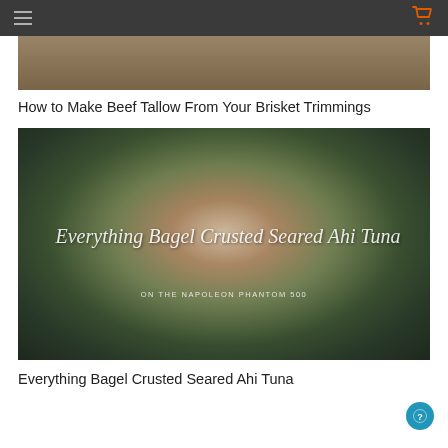Navigation header with hamburger menu and cart icon
[Figure (photo): Partial top image showing a wooden cutting board or food preparation surface, cropped]
How to Make Beef Tallow From Your Brisket Trimmings
[Figure (photo): Everything Bagel Crusted Seared Ahi Tuna dish on a white plate with greens, with script text overlay reading 'Everything Bagel Crusted Seared Ahi Tuna' and subtitle 'ON THE NAPOLEON PHANTOM 500']
Everything Bagel Crusted Seared Ahi Tuna